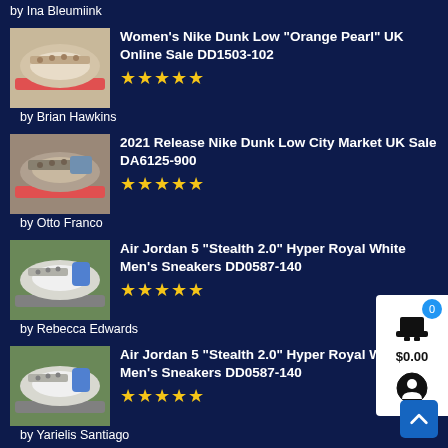by Ina Bleumiink
Women's Nike Dunk Low "Orange Pearl" UK Online Sale DD1503-102 ★★★★★ by Brian Hawkins
2021 Release Nike Dunk Low City Market UK Sale DA6125-900 ★★★★★ by Otto Franco
Air Jordan 5 "Stealth 2.0" Hyper Royal White Men's Sneakers DD0587-140 ★★★★★ by Rebecca Edwards
Air Jordan 5 "Stealth 2.0" Hyper Royal White Men's Sneakers DD0587-140 ★★★★★ by Yarielis Santiago
2021 Air Jordan 4 Retro "White Oreo" Tech Grey UK Shoes CT8527-100 ★★★★★ by Mario Pio